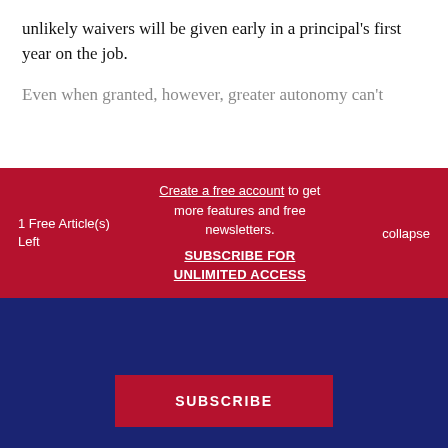unlikely waivers will be given early in a principal's first year on the job.
Even when granted, however, greater autonomy can't
1 Free Article(s) Left
Create a free account to get more features and free newsletters.
SUBSCRIBE FOR UNLIMITED ACCESS
collapse
Subscribe today for unlimited access to best practices, insights, and solutions.
SUBSCRIBE